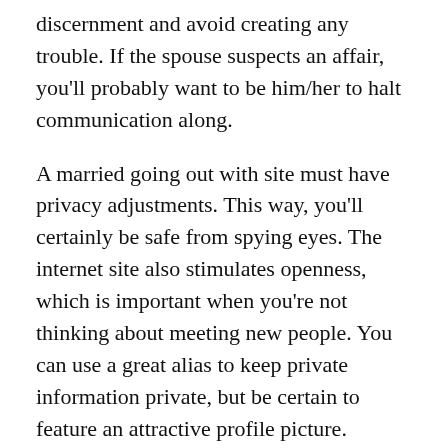discernment and avoid creating any trouble. If the spouse suspects an affair, you'll probably want to be him/her to halt communication along.
A married going out with site must have privacy adjustments. This way, you'll certainly be safe from spying eyes. The internet site also stimulates openness, which is important when you're not thinking about meeting new people. You can use a great alias to keep private information private, but be certain to feature an attractive profile picture. Besides, the pictures on a wedded dating site are the primary way for visitors to make decisions. However , the privacy of your details remains to be crucial – it's essential to protect your privacy.